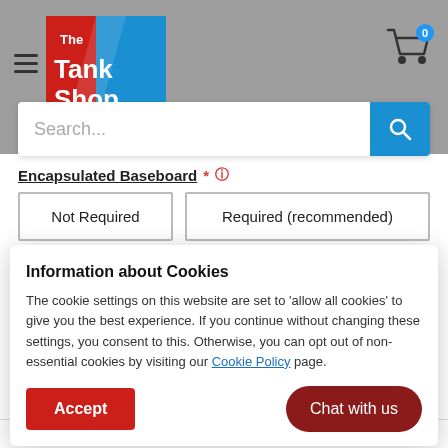[Figure (screenshot): The Tank Shop website header with logo, hamburger menu, cart icon with badge 0, and search bar]
Encapsulated Baseboard * ℹ
Not Required
Required (recommended)
Information about Cookies
The cookie settings on this website are set to 'allow all cookies' to give you the best experience. If you continue without changing these settings, you consent to this. Otherwise, you can opt out of non-essential cookies by visiting our Cookie Policy page.
Accept
Chat with us
Float Valve & Float